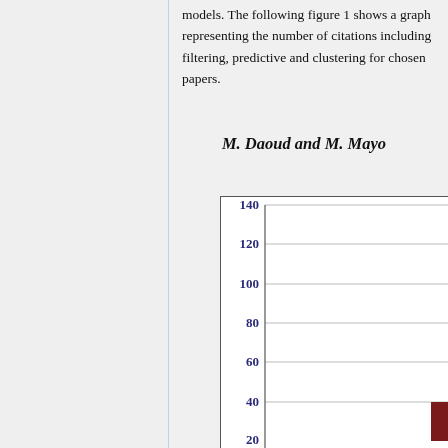models. The following figure 1 shows a graph representing the number of citations including filtering, predictive and clustering for chosen papers.
M. Daoud and M. Mayo
[Figure (bar-chart): Partial bar chart visible showing y-axis from approximately 20 to 140 with gridlines at 40, 60, 80, 100, 120, 140. One dark red bar visible at the right edge near value 40.]